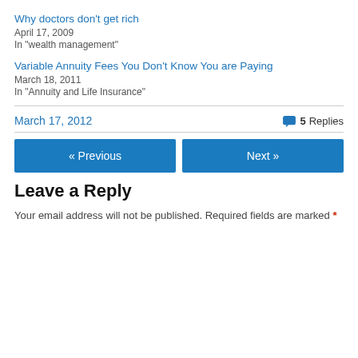Why doctors don't get rich
April 17, 2009
In "wealth management"
Variable Annuity Fees You Don't Know You are Paying
March 18, 2011
In "Annuity and Life Insurance"
March 17, 2012
5 Replies
« Previous
Next »
Leave a Reply
Your email address will not be published. Required fields are marked *